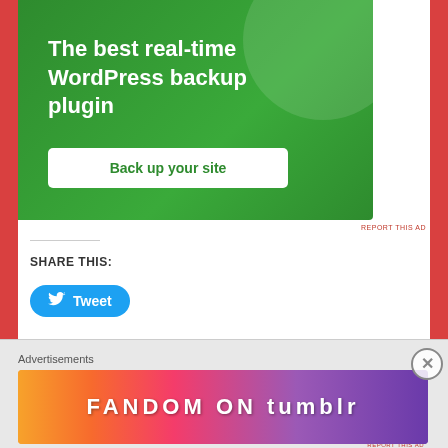[Figure (screenshot): Green advertisement banner for WordPress backup plugin with text 'The best real-time WordPress backup plugin' and a 'Back up your site' button]
REPORT THIS AD
SHARE THIS:
[Figure (screenshot): Twitter Tweet button with bird icon]
[Figure (screenshot): Like button with star icon]
Be the first to like this.
Advertisements
[Figure (screenshot): Fandom on Tumblr advertisement banner with colorful gradient background]